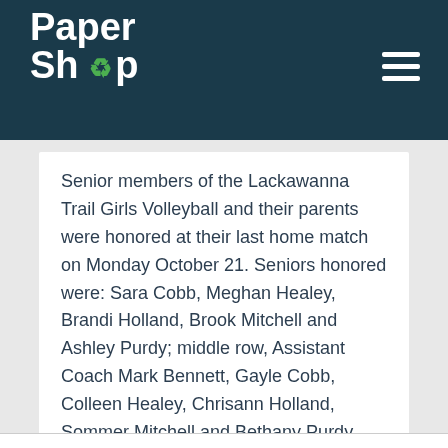Paper Shop
Senior members of the Lackawanna Trail Girls Volleyball and their parents were honored at their last home match on Monday October 21. Seniors honored were: Sara Cobb, Meghan Healey, Brandi Holland, Brook Mitchell and Ashley Purdy; middle row, Assistant Coach Mark Bennett, Gayle Cobb, Colleen Healey, Chrisann Holland, Sommer Mitchell and Bethany Purdy and Coach...
Read more